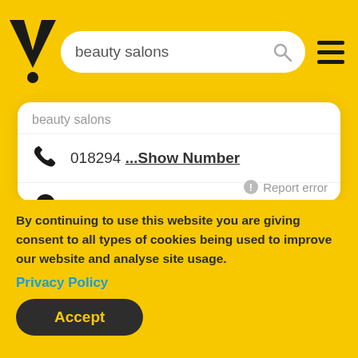[Figure (screenshot): Yellow Yell.com logo — bold black V with dot below]
beauty salons
018294 ...Show Number
19 Goe ...Show Location
majadup@la...Show Email
Report error
By continuing to use this website you are giving consent to all types of cookies being used to improve our website and analyse site usage.
Privacy Policy
Accept